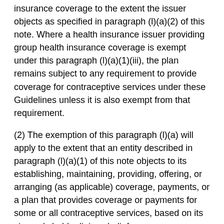insurance coverage to the extent the issuer objects as specified in paragraph (l)(a)(2) of this note. Where a health insurance issuer providing group health insurance coverage is exempt under this paragraph (l)(a)(1)(iii), the plan remains subject to any requirement to provide coverage for contraceptive services under these Guidelines unless it is also exempt from that requirement.
(2) The exemption of this paragraph (l)(a) will apply to the extent that an entity described in paragraph (l)(a)(1) of this note objects to its establishing, maintaining, providing, offering, or arranging (as applicable) coverage, payments, or a plan that provides coverage or payments for some or all contraceptive services, based on its sincerely held religious beliefs.
(b) Objecting individuals—religious beliefs. These Guidelines do not provide for or support the